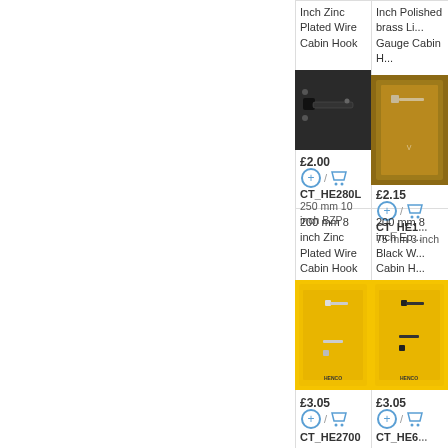[Figure (photo): Black cabin hook hardware, zinc plated, shown against dark background]
Inch Zinc Plated Wire Cabin Hook
£2.00
CT_HE280L
250 mm 10 inch BZP
[Figure (photo): Polished brass cabin hook on packaging]
Inch Polished brass Li... Gauge Cabin H...
£2.15
CT_HE1...
75 mm 3 inch
200 mm 8 inch Zinc Plated Wire Cabin Hook
[Figure (photo): Zinc plated wire cabin hook in yellow retail packaging]
£3.05
CT_HE2700
200 mm 8 inch Ep... Black W... Cabin H...
[Figure (photo): Epoxy black wire cabin hook in yellow retail packaging]
£3.05
CT_HE6...